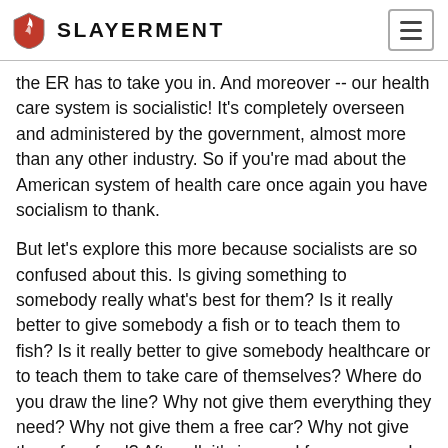SLAYERMENT
the ER has to take you in. And moreover -- our health care system is socialistic! It's completely overseen and administered by the government, almost more than any other industry. So if you're mad about the American system of health care once again you have socialism to thank.
But let's explore this more because socialists are so confused about this. Is giving something to somebody really what's best for them? Is it really better to give somebody a fish or to teach them to fish? Is it really better to give somebody healthcare or to teach them to take care of themselves? Where do you draw the line? Why not give them everything they need? Why not give them a free car? Why not give them free food? After all, it's immoral for poor people not to have food, right? But then you have the problem of resources. We live in a resource intensive world. We only have so